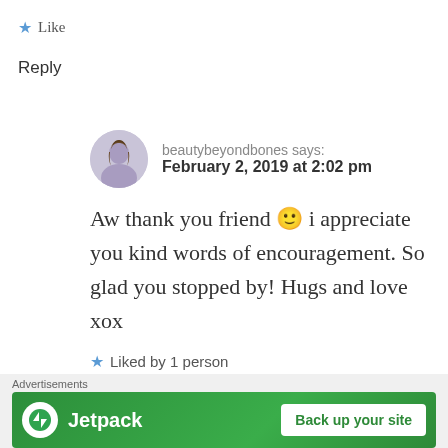★ Like
Reply
beautybeyondbones says: February 2, 2019 at 2:02 pm
Aw thank you friend 🙂 i appreciate you kind words of encouragement. So glad you stopped by! Hugs and love xox
★ Liked by 1 person
Reply
Advertisements
[Figure (screenshot): Jetpack advertisement banner with logo and 'Back up your site' button on green background]